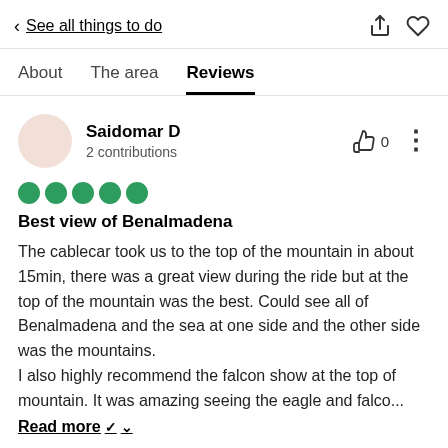< See all things to do
Reviews
Saidomar D
2 contributions
Best view of Benalmadena
The cablecar took us to the top of the mountain in about 15min, there was a great view during the ride but at the top of the mountain was the best. Could see all of Benalmadena and the sea at one side and the other side was the mountains.
I also highly recommend the falcon show at the top of mountain. It was amazing seeing the eagle and falco...
Read more ∨